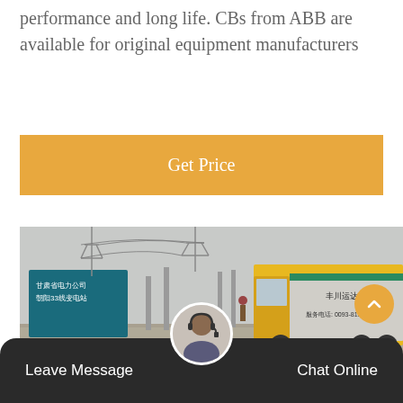performance and long life. CBs from ABB are available for original equipment manufacturers
[Figure (other): Orange 'Get Price' button]
[Figure (photo): Outdoor electrical substation with Chinese signage on a teal board and a yellow truck in the foreground, with transmission towers and overhead lines visible in the background]
Leave Message   Chat Online